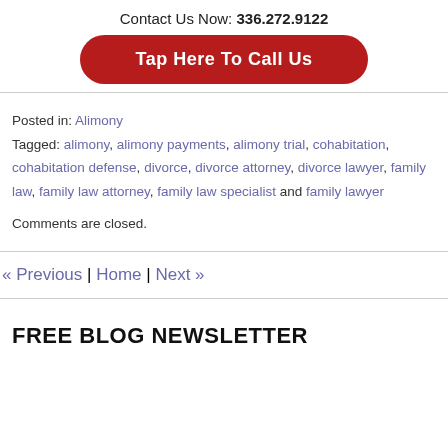Contact Us Now: 336.272.9122
[Figure (other): Red rounded button labeled 'Tap Here To Call Us']
Posted in: Alimony
Tagged: alimony, alimony payments, alimony trial, cohabitation, cohabitation defense, divorce, divorce attorney, divorce lawyer, family law, family law attorney, family law specialist and family lawyer
Comments are closed.
« Previous | Home | Next »
FREE BLOG NEWSLETTER